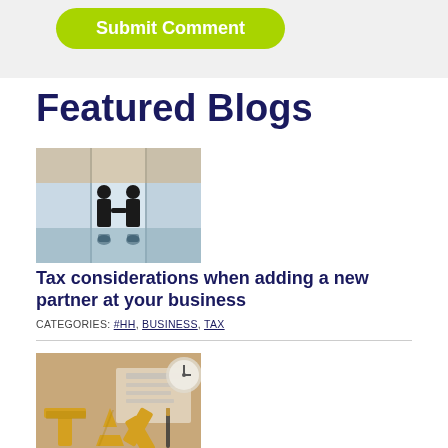[Figure (other): Green rounded 'Submit Comment' button on a light gray background form area]
Featured Blogs
[Figure (photo): Two silhouetted figures shaking hands in front of large windows, reflected on glossy floor — business partnership meeting image]
Tax considerations when adding a new partner at your business
CATEGORIES: #HH, BUSINESS, TAX
[Figure (photo): Close-up photo of golden 3D TAX letters on a surface with financial documents and pen in background]
Once you file your tax return, consider these 3 issues
CATEGORIES: #HH, BUSINESS, GENERAL, TAX BREAKS, TAX RECORDS